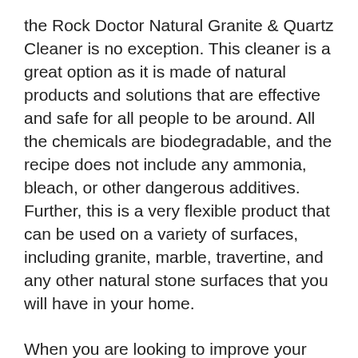the Rock Doctor Natural Granite & Quartz Cleaner is no exception. This cleaner is a great option as it is made of natural products and solutions that are effective and safe for all people to be around. All the chemicals are biodegradable, and the recipe does not include any ammonia, bleach, or other dangerous additives. Further, this is a very flexible product that can be used on a variety of surfaces, including granite, marble, travertine, and any other natural stone surfaces that you will have in your home.
When you are looking to improve your home, upgrading your flooring or counters to something with natural stone is a great option. A natural stone surface floor or counter is an ideal option as they can add warmth to your property while also providing you with a durable and stylish upgrade. Those who are looking to upgrade their home counters or flooring will want to ensure they are cleaning it